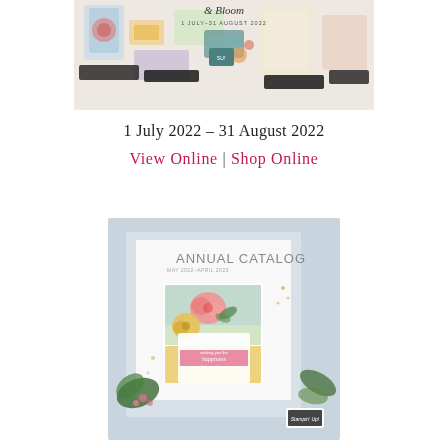[Figure (photo): Top banner image showing stamping and crafting supplies/products with text '& Bloom' and '1 July-31 August 2022', Stampin' Up! branded promotional banner]
1 July 2022 – 31 August 2022
View Online | Shop Online
[Figure (photo): Stampin' Up! Annual Catalog cover showing a floral watercolor card with pink and yellow flowers, greenery, and text 'ANNUAL CATALOG MAY 2022-APRIL 2023', light blue background with Stampin' Up! logo]